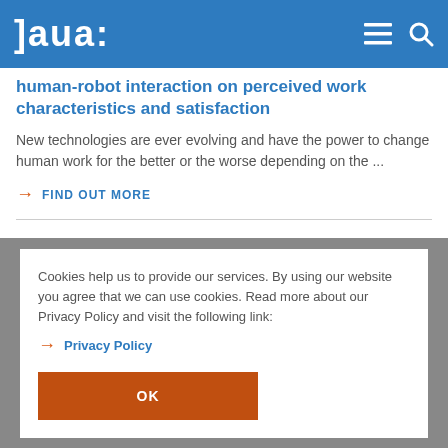baua:
human-robot interaction on perceived work characteristics and satisfaction
New technologies are ever evolving and have the power to change human work for the better or the worse depending on the ...
→ FIND OUT MORE
Cookies help us to provide our services. By using our website you agree that we can use cookies. Read more about our Privacy Policy and visit the following link:
→ Privacy Policy
OK